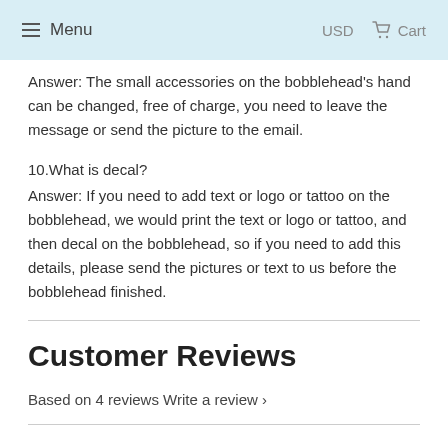Menu  USD  Cart
Answer: The small accessories on the bobblehead's hand can be changed, free of charge, you need to leave the message or send the picture to the email.
10.What is decal?
Answer: If you need to add text or logo or tattoo on the bobblehead, we would print the text or logo or tattoo, and then decal on the bobblehead, so if you need to add this details, please send the pictures or text to us before the bobblehead finished.
Customer Reviews
Based on 4 reviews Write a review ›